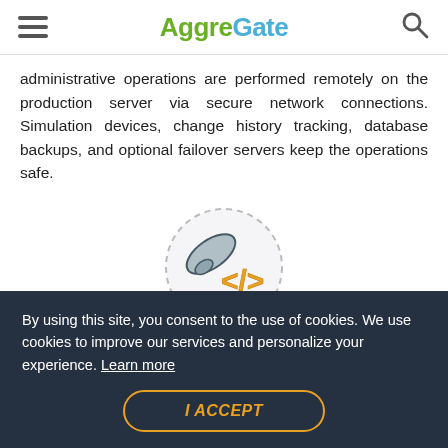AggreGate
administrative operations are performed remotely on the production server via secure network connections. Simulation devices, change history tracking, database backups, and optional failover servers keep the operations safe.
[Figure (illustration): Circular dashed-border icon showing a stylized tool/wrench overlapping with a code bracket symbol </>, representing software/engineering concept.]
By using this site, you consent to the use of cookies. We use cookies to improve our services and personalize your experience. Learn more
I ACCEPT